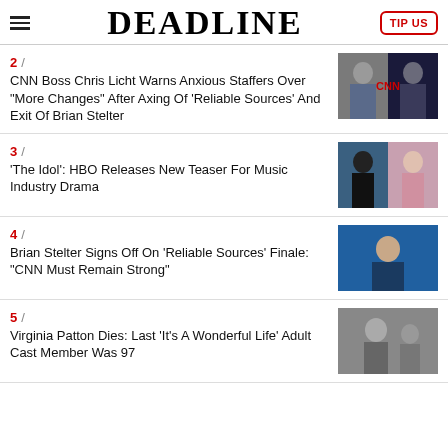DEADLINE
2 / CNN Boss Chris Licht Warns Anxious Staffers Over "More Changes" After Axing Of 'Reliable Sources' And Exit Of Brian Stelter
3 / 'The Idol': HBO Releases New Teaser For Music Industry Drama
4 / Brian Stelter Signs Off On 'Reliable Sources' Finale: "CNN Must Remain Strong"
5 / Virginia Patton Dies: Last 'It's A Wonderful Life' Adult Cast Member Was 97